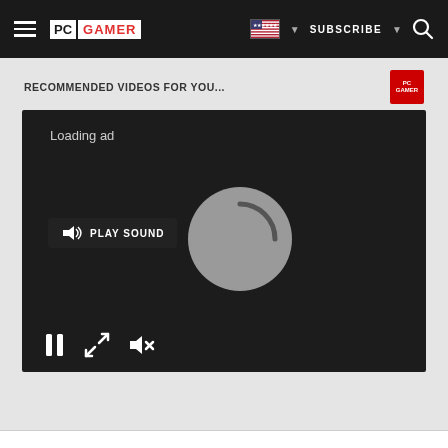PC GAMER — Navigation bar with hamburger menu, PC Gamer logo, US flag, SUBSCRIBE, and search icon
RECOMMENDED VIDEOS FOR YOU...
[Figure (screenshot): Video player showing loading state with 'Loading ad' text, a circular spinner, PLAY SOUND button, and playback controls (pause, expand, mute) at the bottom.]